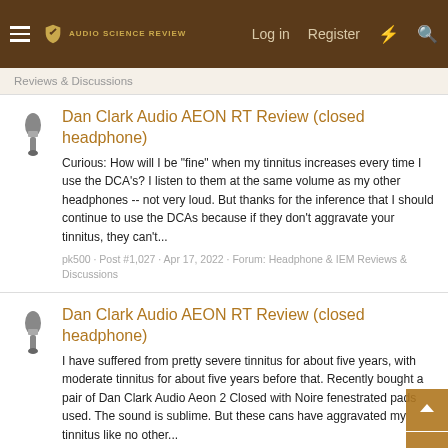Audio Science Review — Log in | Register
Reviews & Discussions
Dan Clark Audio AEON RT Review (closed headphone)
Curious: How will I be "fine" when my tinnitus increases every time I use the DCA's? I listen to them at the same volume as my other headphones -- not very loud. But thanks for the inference that I should continue to use the DCAs because if they don't aggravate your tinnitus, they can't...
pk500 · Post #1,027 · Apr 17, 2022 · Forum: Headphone & IEM Reviews & Discussions
Dan Clark Audio AEON RT Review (closed headphone)
I have suffered from pretty severe tinnitus for about five years, with moderate tinnitus for about five years before that. Recently bought a pair of Dan Clark Audio Aeon 2 Closed with Noire fenestrated pads used. The sound is sublime. But these cans have aggravated my tinnitus like no other...
pk500 · Post #996 · Apr 15, 2022 · Forum: Headphone & IEM